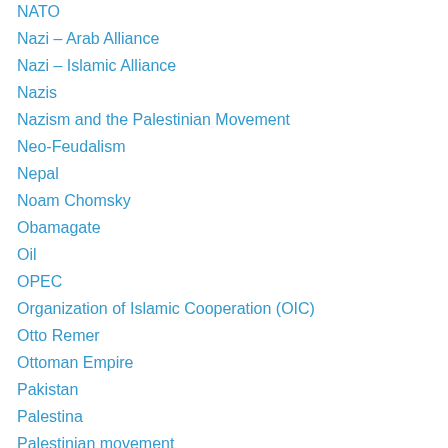NATO
Nazi – Arab Alliance
Nazi – Islamic Alliance
Nazis
Nazism and the Palestinian Movement
Neo-Feudalism
Nepal
Noam Chomsky
Obamagate
Oil
OPEC
Organization of Islamic Cooperation (OIC)
Otto Remer
Ottoman Empire
Pakistan
Palestina
Palestinian movement
palestinien
Pat Condell
PLO – FATAH